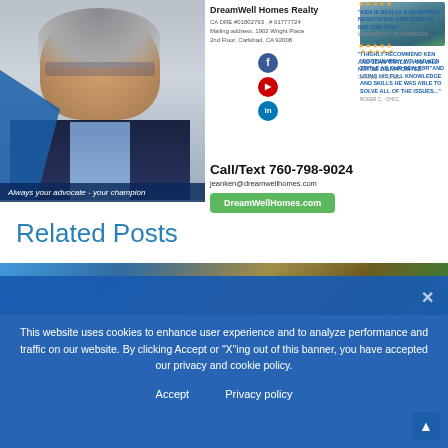[Figure (photo): Real estate agent headshot photo with blue background and tagline 'Always your advocate - your champion']
DreamWell Homes Realty
CA DRE #01802793 · # 01777724
Mailing address: 1902 Wright Place
2nd Floor, Carlsbad, CA 92008
[Figure (photo): Social media icons: Facebook, YouTube, LinkedIn]
[Figure (photo): Reviews: stars and testimonials from clients. 'KEN IS REALLY A HEARTFELT NEGOTIATOR AND GOES TO BAT FOR YOU.' - MARGARET H., SHADOWRIDGE. 'I HIGHLY RECOMMEND KEN AND JEAN TRITLE...YOU WILL NOT BE DISAPPOINTED.' - CHARLIE C. - DHCC. 'FORTUNATELY WE HAD KEN TRITLE AS OUR REALTOR AND USING HIS FULL KNOWLEDGE AND SKILLS HE WAS ABLE TO SOLVE ALL OF THE ISSUES...' - ROGER C. - DHCC]
Call/Text 760-798-9024
jeanken@dreamwellhomes.com
DreamWellHomes.com
Related Posts
This website uses cookies to enhance user experience and to analyze performance and traffic on our website. By clicking Accept or "X"ing out of this banner, you have accepted our privacy and cookie policy.
Accept
Privacy policy